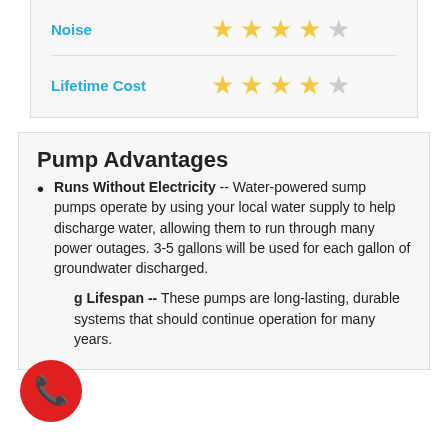| Category | Rating |
| --- | --- |
| Noise | 4/5 stars |
| Lifetime Cost | 4/5 stars |
Pump Advantages
Runs Without Electricity -- Water-powered sump pumps operate by using your local water supply to help discharge water, allowing them to run through many power outages. 3-5 gallons will be used for each gallon of groundwater discharged.
Long Lifespan -- These pumps are long-lasting, durable systems that should continue operation for many years.
[Figure (illustration): Red circular phone call button icon]